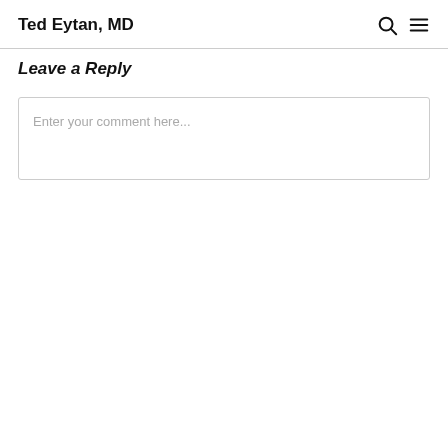Ted Eytan, MD
Leave a Reply
Enter your comment here...